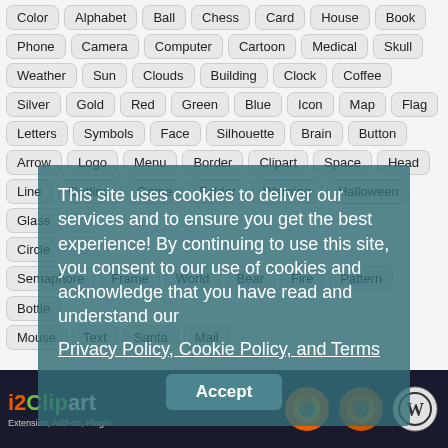Color, Alphabet, Ball, Chess, Card, House, Book
Phone, Camera, Computer, Cartoon, Medical, Skull
Weather, Sun, Clouds, Building, Clock, Coffee
Silver, Gold, Red, Green, Blue, Icon, Map, Flag
Letters, Symbols, Face, Silhouette, Brain, Button
Arrow, Logo, Menu, Border, Clipart, Space, Head
Line, Outline, Game, Folder, Warning, Halloween
Glass, ...
Circle, ...
Semaphore, Frame, World, Bear, Fire, Pattern, Bottle
Mouse, Text, Santa, Mail
This site uses cookies to deliver our services and to ensure you get the best experience! By continuing to use this site, you consent to our use of cookies and acknowledge that you have read and understand our Privacy Policy, Cookie Policy, and Terms
[Figure (screenshot): i2Clipart footer bar with logo, Firefox icons, and WordPress icon on dark background. Text: 'Extension, Add-on, Plugin']